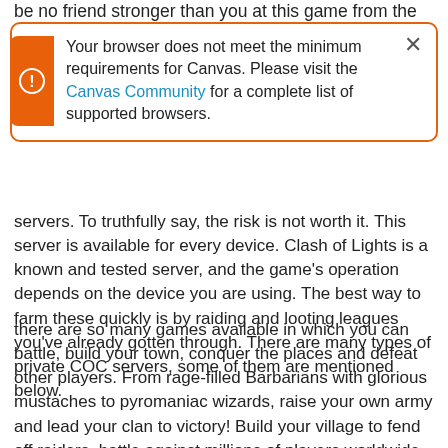be no friend stronger than you at this game from the
Your browser does not meet the minimum requirements for Canvas. Please visit the Canvas Community for a complete list of supported browsers.
servers. To truthfully say, the risk is not worth it. This server is available for every device. Clash of Lights is a known and tested server, and the game’s operation depends on the device you are using. The best way to farm these quickly is by raiding and looting leagues you’ve already gotten through. There are many types of private COC servers, some of them are mentioned below.
there are so many games available in which you can battle, build your town, conquer the places and defeat other players. From rage-filled Barbarians with glorious mustaches to pyromaniac wizards, raise your own army and lead your clan to victory! Build your village to fend off raiders, battle against millions of players worldwide, and forge a powerful clan with others to destroy enemy clans. Unfortunately